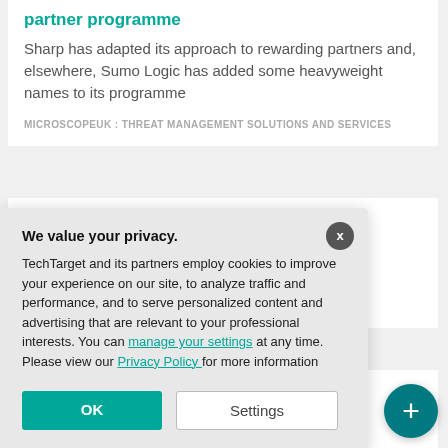partner programme
Sharp has adapted its approach to rewarding partners and, elsewhere, Sumo Logic has added some heavyweight names to its programme
MICROSCOPEUK : THREAT MANAGEMENT SOLUTIONS AND SERVICES
d cohort for
ation aims to their potential
UPS
[Figure (screenshot): Privacy consent dialog overlay with 'We value your privacy.' heading, cookie policy text with links to 'manage your settings' and 'Privacy Policy', OK and Settings buttons, and X close button]
chequer UK tech
[Figure (other): Teal circular FAB button with plus (+) icon in bottom right corner]